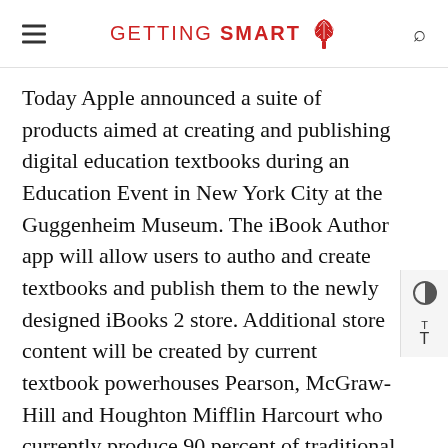GETTING SMART
Today Apple announced a suite of products aimed at creating and publishing digital education textbooks during an Education Event in New York City at the Guggenheim Museum. The iBook Author app will allow users to autho and create textbooks and publish them to the newly designed iBooks 2 store. Additional store content will be created by current textbook powerhouses Pearson, McGraw-Hill and Houghton Mifflin Harcourt who currently produce 90 percent of traditional textbooks. For now the iBooks 2 textbook section will have textbooks available in every subject of study for high school students and will be aimed at